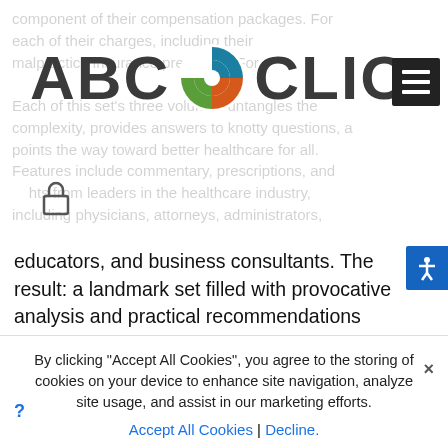[Figure (logo): ABC-CLIO logo with circular icon showing teal, green and orange segments]
educators, and business consultants. The result: a landmark set filled with provocative analysis and practical recommendations destined to improve the delivery of healthcare.
By clicking “Accept All Cookies”, you agree to the storing of cookies on your device to enhance site navigation, analyze site usage, and assist in our marketing efforts.
Accept All Cookies | Decline.